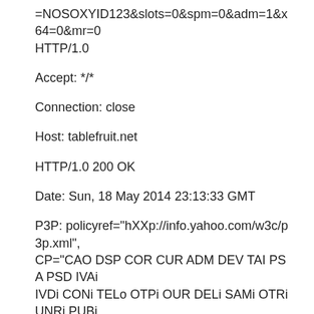=NOSOXYID123&slots=0&spm=0&adm=1&x64=0&mr=0
HTTP/1.0
Accept: */*
Connection: close
Host: tablefruit.net
HTTP/1.0 200 OK
Date: Sun, 18 May 2014 23:13:33 GMT
P3P: policyref="hXXp://info.yahoo.com/w3c/p3p.xml", CP="CAO DSP COR CUR ADM DEV TAI PSA PSD IVAi IVDi CONi TELo OTPi OUR DELi SAMi OTRi UNRi PUBi IND PHY ONL UNI PUR FIN COM NAV INT DEM CNT STA POL HEA PRE LOC GOV"
Content-Type: text/html
Age: 0